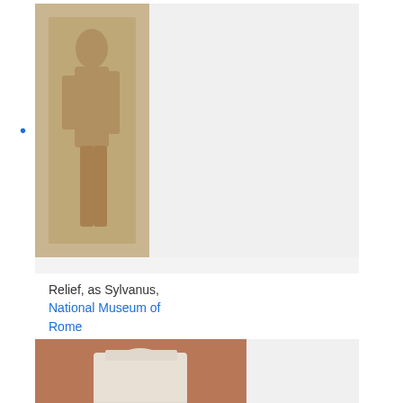Relief, as Sylvanus, National Museum of Rome
[Figure (photo): Stone relief carving of a standing figure, identified as Sylvanus]
Relief, as Sylvanus, National Museum of Rome
Antinous as Osiris
[Figure (photo): Marble bust of Antinous depicted as Osiris, with Egyptian headdress]
Antinous as Osiris
[Figure (photo): Partial view of a marble bust or sculpture, cropped at bottom of page]